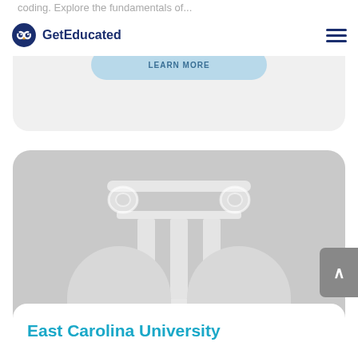GetEducated
coding. Explore the fundamentals of...
[Figure (illustration): GetEducated website screenshot showing navigation bar with owl logo and hamburger menu, a card with a blue pill button, a gray university card with a classical column icon, and East Carolina University listing at the bottom]
East Carolina University